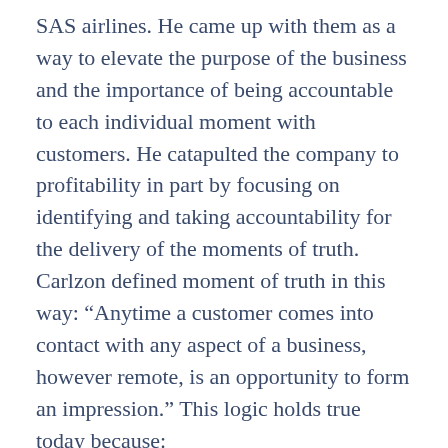SAS airlines.  He came up with them as a way to elevate the purpose of the business and the importance of being accountable to each individual moment with customers. He catapulted the company to profitability in part by focusing on identifying and taking accountability for the delivery of the moments of truth.
Carlzon defined moment of truth in this way:  “Anytime a customer comes into contact with any aspect of a business, however remote, is an opportunity to form an impression.” This logic holds true today because: